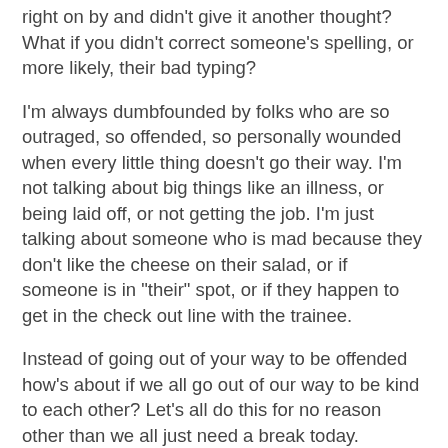right on by and didn't give it another thought? What if you didn't correct someone's spelling, or more likely, their bad typing?
I'm always dumbfounded by folks who are so outraged, so offended, so personally wounded when every little thing doesn't go their way. I'm not talking about big things like an illness, or being laid off, or not getting the job. I'm just talking about someone who is mad because they don't like the cheese on their salad, or if someone is in "their" spot, or if they happen to get in the check out line with the trainee.
Instead of going out of your way to be offended how's about if we all go out of our way to be kind to each other? Let's all do this for no reason other than we all just need a break today. Kindness is contagious so let's sprinkle it all over today.
Let's all thank the trainee for doing a great job (even if you have to choke those words out), let's respond with "whatever is easiest for you" when they ask paper or plastic, let's park further out so that a mom with her kids or an older person